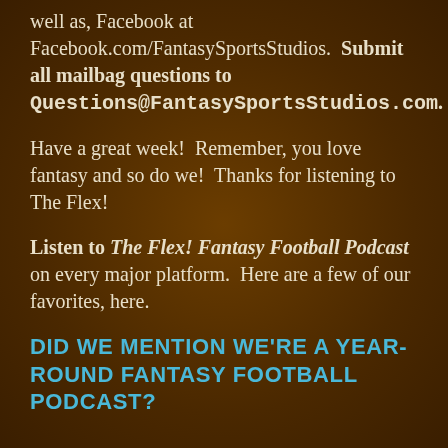well as, Facebook at Facebook.com/FantasySportsStudios. Submit all mailbag questions to Questions@FantasySportsStudios.com.
Have a great week!  Remember, you love fantasy and so do we!  Thanks for listening to The Flex!
Listen to The Flex! Fantasy Football Podcast on every major platform.  Here are a few of our favorites, here.
DID WE MENTION WE'RE A YEAR-ROUND FANTASY FOOTBALL PODCAST?